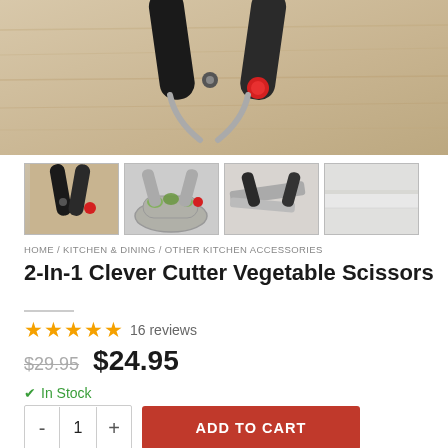[Figure (photo): Top-down photo of 2-in-1 Clever Cutter Vegetable Scissors with black handles and red safety button, placed on a light wood surface]
[Figure (photo): Four product thumbnail images: (1) scissors closed on wood, (2) scissors cutting vegetables in bowl, (3) scissors open showing blade, (4) blade closeup]
HOME / KITCHEN & DINING / OTHER KITCHEN ACCESSORIES
2-In-1 Clever Cutter Vegetable Scissors
★★★★★ 16 reviews
$29.95  $24.95
✓ In Stock
- 1 +  ADD TO CART